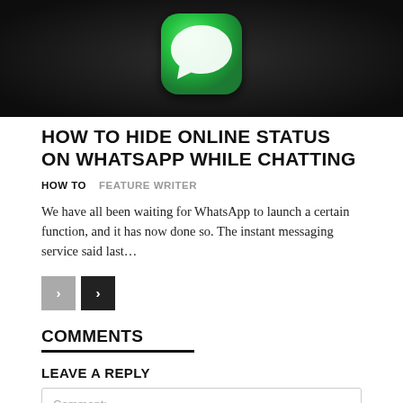[Figure (photo): WhatsApp logo/icon on a dark background — green rounded square icon with white speech bubble chat symbol]
HOW TO HIDE ONLINE STATUS ON WHATSAPP WHILE CHATTING
HOW TO   FEATURE WRITER
We have all been waiting for WhatsApp to launch a certain function, and it has now done so. The instant messaging service said last…
COMMENTS
LEAVE A REPLY
Comment: